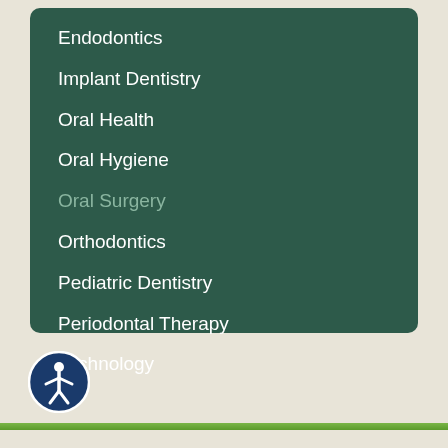Endodontics
Implant Dentistry
Oral Health
Oral Hygiene
Oral Surgery
Orthodontics
Pediatric Dentistry
Periodontal Therapy
Technology
[Figure (illustration): Accessibility icon: circular blue button with white human figure silhouette, located in bottom-left corner]
Green horizontal bar at bottom of page